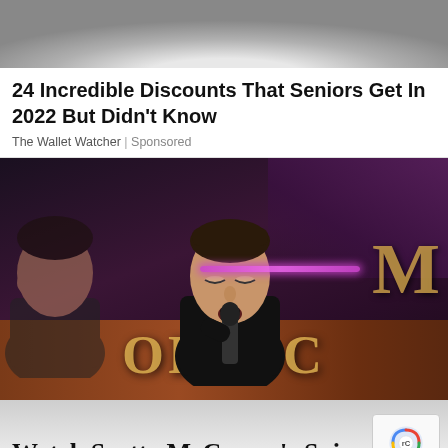[Figure (photo): Top portion of a circular/bowl-shaped object, cropped, grey tones]
24 Incredible Discounts That Seniors Get In 2022 But Didn't Know
The Wallet Watcher | Sponsored
[Figure (photo): A young male singer performing on stage at the Grand Ole Opry, eyes closed, holding a microphone, wearing a black shirt. Another figure visible on the left side. Opry branding text visible in background.]
Watch Scotty McCreery's Spine Tinglin Rendition of "Hello Darlin'"